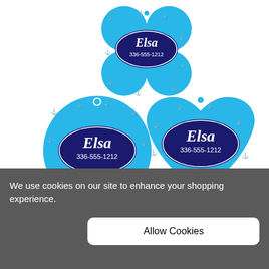[Figure (photo): Three personalized blue anchor pattern pet tags in different shapes (bone, round, heart), each showing 'Elsa 336-555-1212' on a dark navy oval with white script text, on a sky blue background with white anchor pattern.]
Personalized Blue Anchor Background Pet Tag for Dogs and Cats - Free Shipping (PT-601)
Reg. Price: $12.95
Sale Price:
We use cookies on our site to enhance your shopping experience.
Allow Cookies